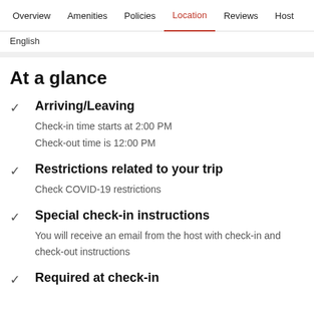Overview  Amenities  Policies  Location  Reviews  Host
English
At a glance
Arriving/Leaving
Check-in time starts at 2:00 PM
Check-out time is 12:00 PM
Restrictions related to your trip
Check COVID-19 restrictions
Special check-in instructions
You will receive an email from the host with check-in and check-out instructions
Required at check-in